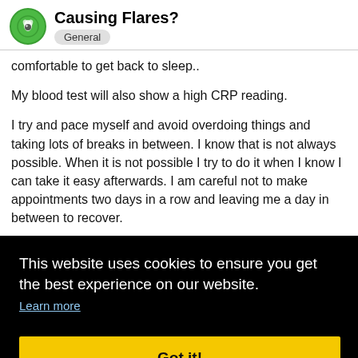Causing Flares? General
comfortable to get back to sleep..
My blood test will also show a high CRP reading.
I try and pace myself and avoid overdoing things and taking lots of breaks in between. I know that is not always possible. When it is not possible I try to do it when I know I can take it easy afterwards. I am careful not to make appointments two days in a row and leaving me a day in between to recover.
n. I [partial] d the I put me eem to
This website uses cookies to ensure you get the best experience on our website.
Learn more
Got it!